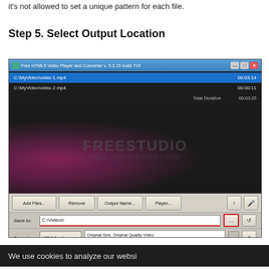it's not allowed to set a unique pattern for each file.
Step 5. Select Output Location
[Figure (screenshot): Free HTML5 Video Player and Converter application window showing file list (C:\MyVideo\video 1.mp4 and C:\MyVideo\video 2.mp4), FREESTUDIO watermark, toolbar with Add Files, Remove, Output Name, Player buttons, Save to field showing C:\Videos\ with highlighted ... button, and Formats dropdown showing HTML5 video with Original Size Original Quality Video settings]
We use cookies to analyze our websi